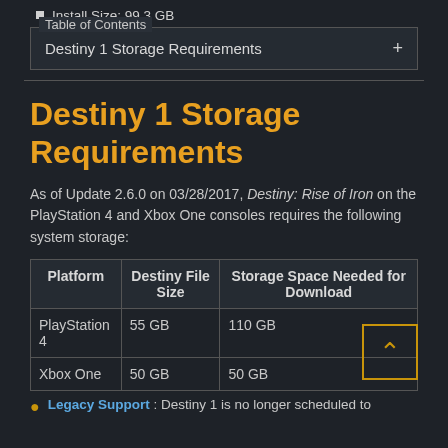Install Size: 99.3 GB
Table of Contents
Destiny 1 Storage Requirements +
Destiny 1 Storage Requirements
As of Update 2.6.0 on 03/28/2017, Destiny: Rise of Iron on the PlayStation 4 and Xbox One consoles requires the following system storage:
| Platform | Destiny File Size | Storage Space Needed for Download |
| --- | --- | --- |
| PlayStation 4 | 55 GB | 110 GB |
| Xbox One | 50 GB | 50 GB |
Legacy Support : Destiny 1 is no longer scheduled to